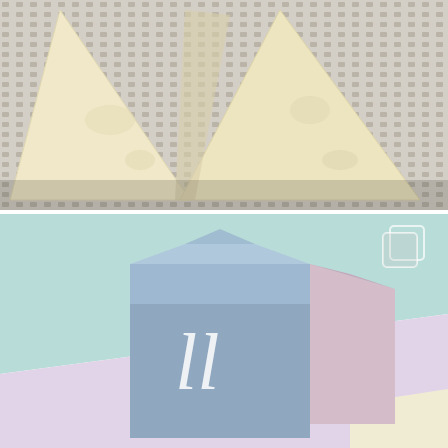[Figure (photo): Close-up photo of triangular folded dough or bread on a white grid/mesh surface. The dough appears pale cream/beige, with two triangular pieces positioned with their pointed ends together forming an inverted V shape.]
[Figure (illustration): Illustration of a blue-grey milk carton with white cursive lettering on the front, set against a pastel background divided diagonally into mint green (top-left) and pink (right). A small copy/layers icon appears in the top-right corner. The bottom-right corner shows a light yellow/cream area.]